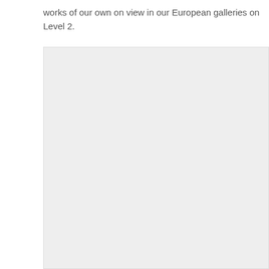works of our own on view in our European galleries on Level 2.
[Figure (photo): Large light grey rectangular image placeholder occupying the lower portion of the page]